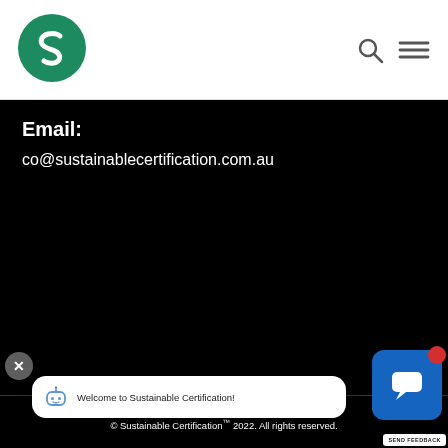[Figure (logo): Sustainable Certification green circle logo with white S letter]
[Figure (other): Search icon and hamburger menu icon in top right nav]
Email:
co@sustainablecertification.com.au
Terms and Conditions | Privacy Policy
© Sustainable Certification™ 2022. All rights reserved.
[Figure (other): Chat widget overlay: close X button, white chat bubble with bot icon and text 'Welcome to Sustainable Certification!', blue chat avatar with red notification dot, SEND FEEDBACK button]